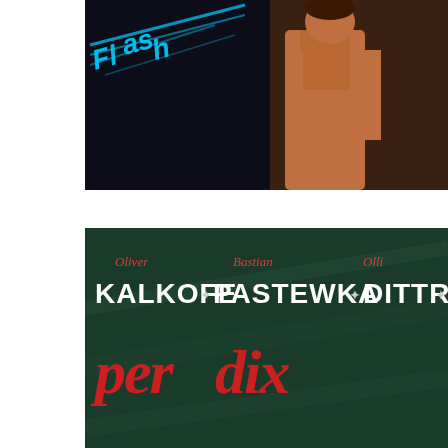[Figure (photo): Movie poster or promotional image showing a person in a tank top against a dark background with blue neon script lettering at top]
[Figure (photo): Movie poster with dark green/teal background showing names Oliver Kalkofe, Bastian Pastewka, Olli Dittrich in white bold text with italic cursive name tags above each, and red stylized title text at bottom]